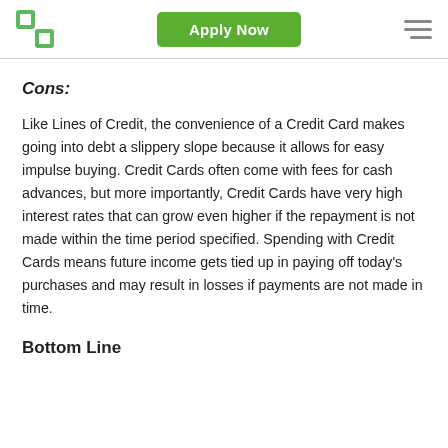Apply Now
Cons:
Like Lines of Credit, the convenience of a Credit Card makes going into debt a slippery slope because it allows for easy impulse buying. Credit Cards often come with fees for cash advances, but more importantly, Credit Cards have very high interest rates that can grow even higher if the repayment is not made within the time period specified. Spending with Credit Cards means future income gets tied up in paying off today's purchases and may result in losses if payments are not made in time.
Bottom Line